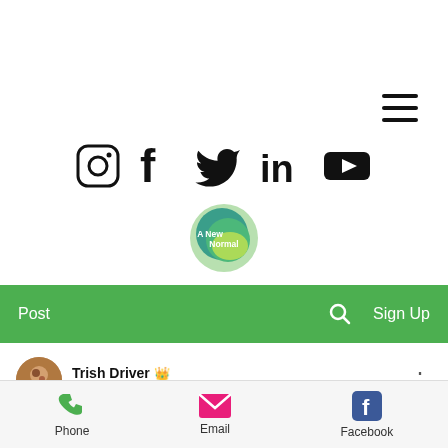[Figure (screenshot): Hamburger menu icon (three horizontal lines) at top right]
[Figure (screenshot): Social media icons row: Instagram, Facebook, Twitter, LinkedIn, YouTube]
[Figure (logo): A New Normal circular logo badge in green/teal/yellow]
[Figure (screenshot): Green navigation bar with Post, search icon, and Sign Up]
[Figure (screenshot): Post author row: avatar of Trish Driver with crown icon, Aug 29, 2018 · 5 min, three-dot menu]
Th...
[Figure (screenshot): Bottom action bar with Phone (green), Email (pink envelope), Facebook (blue)]